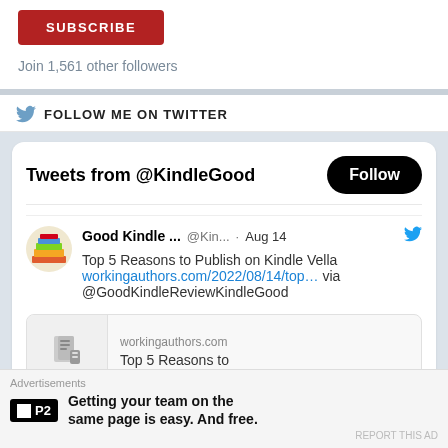[Figure (other): Red SUBSCRIBE button]
Join 1,561 other followers
FOLLOW ME ON TWITTER
Tweets from @KindleGood
[Figure (other): Follow button (black rounded pill)]
Good Kindle ... @Kin... · Aug 14
Top 5 Reasons to Publish on Kindle Vella workingauthors.com/2022/08/14/top... via @GoodKindleReviewKindleGood
[Figure (other): Link preview card: workingauthors.com - Top 5 Reasons to]
Advertisements
[Figure (logo): P2 logo (black square with P2 text)]
Getting your team on the same page is easy. And free.